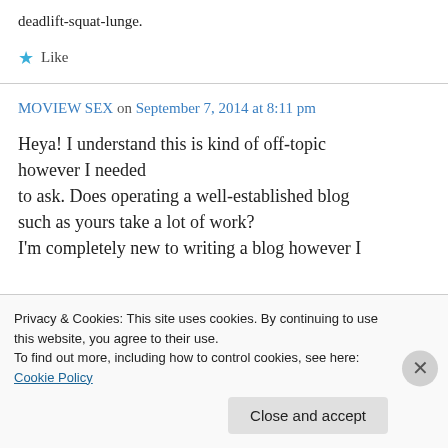deadlift-squat-lunge.
★ Like
MOVIEW SEX on September 7, 2014 at 8:11 pm
Heya! I understand this is kind of off-topic however I needed to ask. Does operating a well-established blog such as yours take a lot of work? I'm completely new to writing a blog however I
Privacy & Cookies: This site uses cookies. By continuing to use this website, you agree to their use.
To find out more, including how to control cookies, see here: Cookie Policy
Close and accept